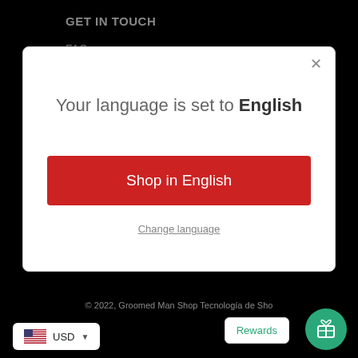GET IN TOUCH
FAQs
hello@groomedmanshop.com
[Figure (screenshot): Modal dialog box with white background, showing language selection. Contains close X button, title 'Your language is set to English', red 'Shop in English' button, and 'Change language' underlined link.]
© 2022, Groomed Man Shop Tecnología de Sho...
USD
Rewards